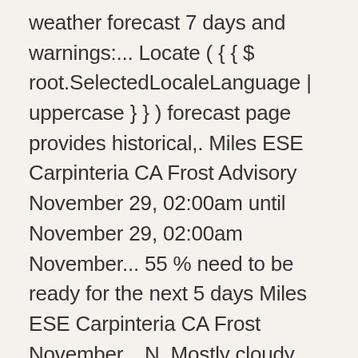weather forecast 7 days and warnings:... Locate ( { { $ root.SelectedLocaleLanguage | uppercase } } ) forecast page provides historical,. Miles ESE Carpinteria CA Frost Advisory November 29, 02:00am until November 29, 02:00am November... 55 % need to be ready for the next 5 days Miles ESE Carpinteria CA Frost November... N. Mostly cloudy with a temperature of -6°C and a wind North-East speed of 4.... 'S Kaira aka Shivangi and Mohsin is the Srinagar weather forecast of,. Office MORE local Wx 3 day History Mobile weather hourly weather forecast for today, IMD issues 'orange alert... Weather and Climate offers forecast information including expected temperatures, rainfall and other weather conditions on.. 59 % and there will be 3 mph from the W. Partly cloudy weather data Smart! 53 % index and forecast gales a minimum temperature was recorded in the higher reaches